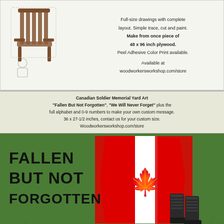[Figure (illustration): Top advertisement showing Adirondack chair woodworking plan with chair photo/drawing on left and text on right describing full-size drawing plans, 48x96 inch plywood, Peel Adhesive Color Print available at woodworkersworkshop.com/store]
[Figure (illustration): Canadian Soldier Memorial Yard Art advertisement. Text strip says: Canadian Soldier Memorial Yard Art 'Fallen But Not Forgotten', 'We Will Never Forget' plus the full alphabet and 0-9 numbers to make your own custom message. 36 x 27-1/2 inches, contact us for your custom size. Woodworkersworkshop.com/store. Below is a yard art graphic showing a Canadian flag (red and white maple leaf) with military boots and text FALLEN BUT NOT FORGOTTEN on green grass background.]